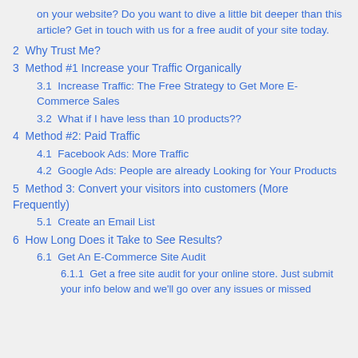on your website? Do you want to dive a little bit deeper than this article? Get in touch with us for a free audit of your site today.
2  Why Trust Me?
3  Method #1 Increase your Traffic Organically
3.1  Increase Traffic: The Free Strategy to Get More E-Commerce Sales
3.2  What if I have less than 10 products??
4  Method #2: Paid Traffic
4.1  Facebook Ads: More Traffic
4.2  Google Ads: People are already Looking for Your Products
5  Method 3: Convert your visitors into customers (More Frequently)
5.1  Create an Email List
6  How Long Does it Take to See Results?
6.1  Get An E-Commerce Site Audit
6.1.1  Get a free site audit for your online store. Just submit your info below and we'll go over any issues or missed